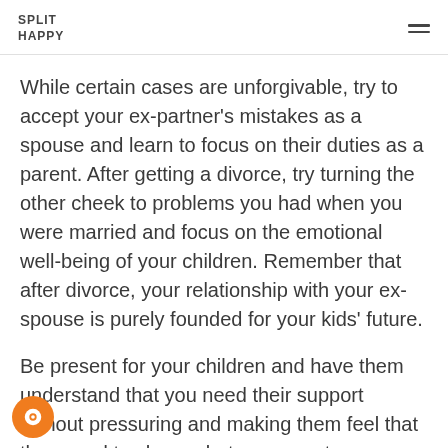SPLIT HAPPY
While certain cases are unforgivable, try to accept your ex-partner's mistakes as a spouse and learn to focus on their duties as a parent. After getting a divorce, try turning the other cheek to problems you had when you were married and focus on the emotional well-being of your children. Remember that after divorce, your relationship with your ex-spouse is purely founded for your kids' future.
Be present for your children and have them understand that you need their support without pressuring and making them feel that they need to choose between you two. Despite what happened and how your relationship ended, your children are the most valuable outcome of the relationship. Having them means your relationship wasn't a complete failure and you have to go on and reinvent yourself